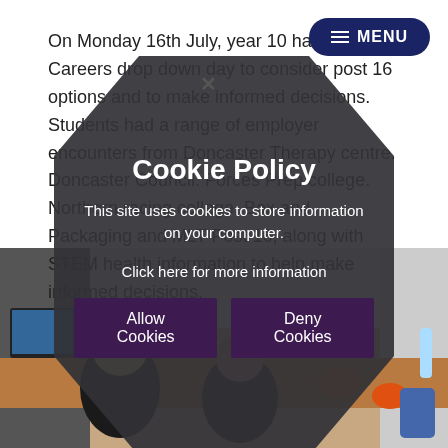On Monday 16th July, year 10 had a Careers drop down day to consider post 16 options and to make informed decisions. Students had a range of employer encounters from Doncaster Therapy centre, Doncaster Council, Forces Prep college, Northern racing college, Box and Packaging and MLT Post 16, along with STEM health information to help make informed decisions.
[Figure (screenshot): Cookie Policy modal overlay with dark hexagonal/octagonal shape on top of a webpage. The modal contains title 'Cookie Policy', description text 'This site uses cookies to store information on your computer.', a link 'Click here for more information', and two buttons 'Allow Cookies' and 'Deny Cookies'. A MENU button appears in the top right corner. Behind the overlay is a classroom photo with students at desks.]